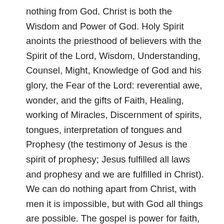nothing from God. Christ is both the Wisdom and Power of God. Holy Spirit anoints the priesthood of believers with the Spirit of the Lord, Wisdom, Understanding, Counsel, Might, Knowledge of God and his glory, the Fear of the Lord: reverential awe, wonder, and the gifts of Faith, Healing, working of Miracles, Discernment of spirits, tongues, interpretation of tongues and Prophesy (the testimony of Jesus is the spirit of prophesy; Jesus fulfilled all laws and prophesy and we are fulfilled in Christ). We can do nothing apart from Christ, with men it is impossible, but with God all things are possible. The gospel is power for faith, by faith in the impossible made possible in Christ; God's grace is power that gives us peace knowing we are reconciled with